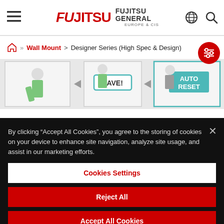[Figure (screenshot): Fujitsu General Europe website header with hamburger menu, Fujitsu General logo, globe icon, and search icon on white background]
[Figure (screenshot): Breadcrumb navigation showing home icon >> Wall Mount > Designer Series (High Spec & Design) with red filter button]
[Figure (screenshot): Product image strip showing air conditioner lifestyle images with SAVE! and AUTO RESET labels]
By clicking “Accept All Cookies”, you agree to the storing of cookies on your device to enhance site navigation, analyze site usage, and assist in our marketing efforts.
[Figure (screenshot): Cookie consent dialog with Cookies Settings, Reject All, and Accept All Cookies buttons on dark background]